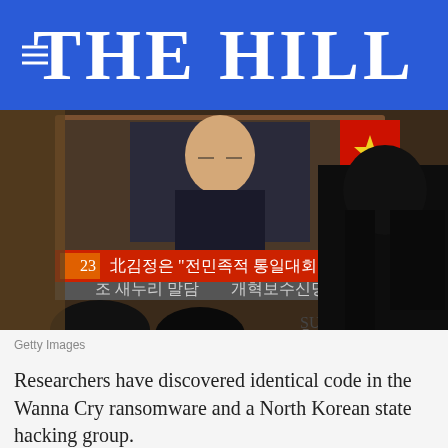THE HILL
[Figure (photo): People watching a news broadcast on a TV screen showing North Korean leader Kim Jong-un, with Korean text news ticker and a red banner. A dark silhouette of a person with long hair is visible in the foreground right.]
Getty Images
Researchers have discovered identical code in the Wanna Cry ransomware and a North Korean state hacking group.
Wanna Cry has infected hundreds of thousands of machines across 150 countries. Victims have